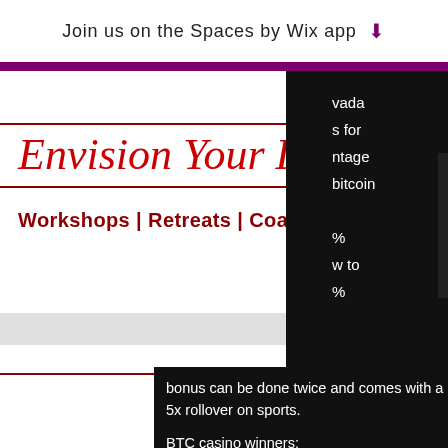Join us on the Spaces by Wix app ⬇
Envision Your Life
Workshops | Retreats | Coaching
vada
s for
ntage
bitcoin
%
w to
%
bonus can be done twice and comes with a 5x rollover on sports.
BTC casino winners:
Scary Rich - 592.1 ltc
Jackpot 6000 - 645.5 bch
Hot Diamonds - 278.9 bch
Geisha Story - 39.4 bch
Cash Stampede - 198.2 btc
Smoking Dogs - 438.3 ltc